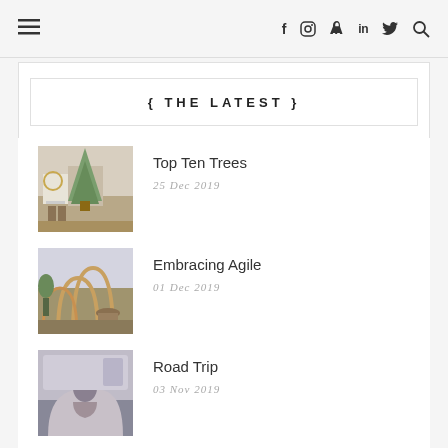≡  f  ☷  𝗣  in  🐦  🔍
{ THE LATEST }
Top Ten Trees
25 Dec 2019
Embracing Agile
01 Dec 2019
Road Trip
03 Nov 2019
Classic Woods and